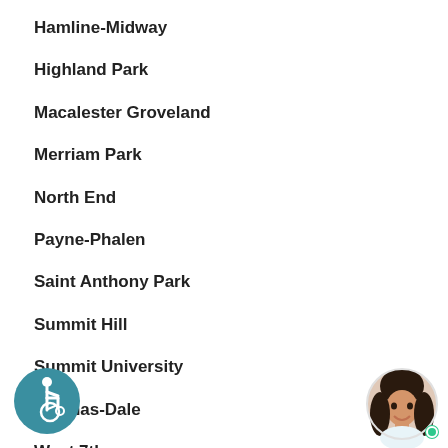Hamline-Midway
Highland Park
Macalester Groveland
Merriam Park
North End
Payne-Phalen
Saint Anthony Park
Summit Hill
Summit University
Thomas-Dale
West 7th
West Side
[Figure (illustration): Accessibility icon: circular teal badge with wheelchair user symbol]
[Figure (photo): Circular chat avatar photo of a smiling woman with dark hair, with a green online indicator dot]